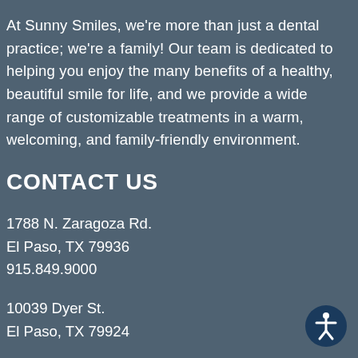At Sunny Smiles, we're more than just a dental practice; we're a family! Our team is dedicated to helping you enjoy the many benefits of a healthy, beautiful smile for life, and we provide a wide range of customizable treatments in a warm, welcoming, and family-friendly environment.
CONTACT US
1788 N. Zaragoza Rd.
El Paso, TX 79936
915.849.9000
10039 Dyer St.
El Paso, TX 79924
[Figure (illustration): Accessibility icon: white figure with arms and legs spread inside a dark blue circle]